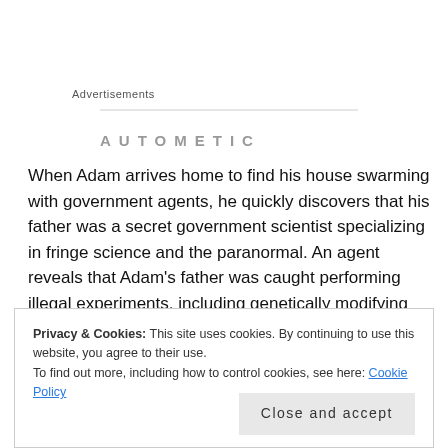Advertisements
[Figure (other): Advertisement banner placeholder with horizontal line and partial bold uppercase text]
When Adam arrives home to find his house swarming with government agents, he quickly discovers that his father was a secret government scientist specializing in fringe science and the paranormal. An agent reveals that Adam's father was caught performing illegal experiments, including genetically modifying Adam's DNA.
Privacy & Cookies: This site uses cookies. By continuing to use this website, you agree to their use.
To find out more, including how to control cookies, see here: Cookie Policy
Close and accept